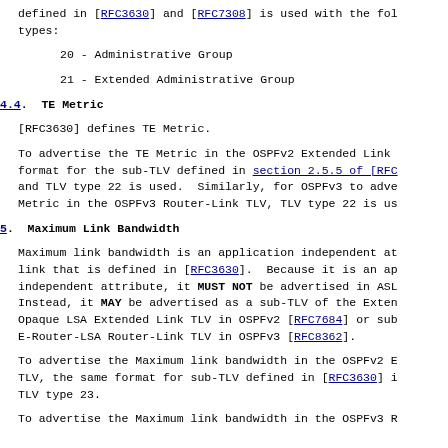defined in [RFC3630] and [RFC7308] is used with the following types:
20 - Administrative Group
21 - Extended Administrative Group
4.4.  TE Metric
[RFC3630] defines TE Metric.
To advertise the TE Metric in the OSPFv2 Extended Link format for the sub-TLV defined in section 2.5.5 of [RFC and TLV type 22 is used.  Similarly, for OSPFv3 to adve Metric in the OSPFv3 Router-Link TLV, TLV type 22 is us
5.  Maximum Link Bandwidth
Maximum link bandwidth is an application independent at link that is defined in [RFC3630].  Because it is an ap independent attribute, it MUST NOT be advertised in ASL Instead, it MAY be advertised as a sub-TLV of the Exten Opaque LSA Extended Link TLV in OSPFv2 [RFC7684] or sub E-Router-LSA Router-Link TLV in OSPFv3 [RFC8362].
To advertise the Maximum link bandwidth in the OSPFv2 E TLV, the same format for sub-TLV defined in [RFC3630] i TLV type 23.
To advertise the Maximum link bandwidth in the OSPFv3 R